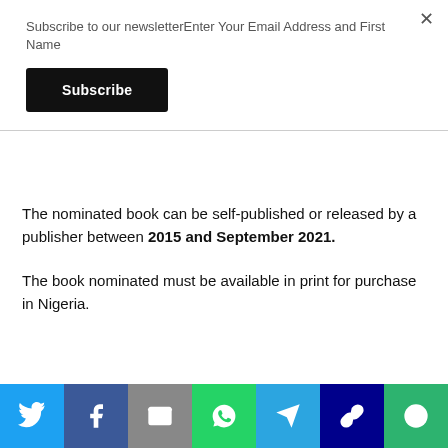Subscribe to our newsletterEnter Your Email Address and First Name
Subscribe
The nominated book can be self-published or released by a publisher between 2015 and September 2021.
The book nominated must be available in print for purchase in Nigeria.
[Figure (infographic): Social media share bar with icons for Twitter, Facebook, Email, WhatsApp, Telegram, Link, and another share option]